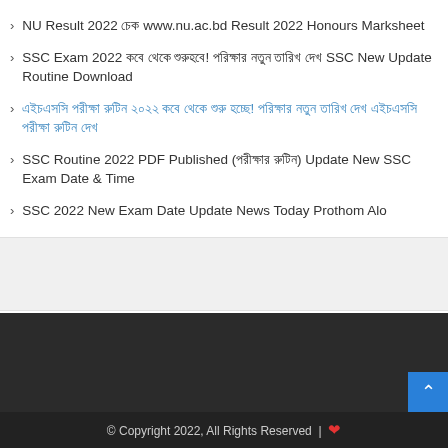NU Result 2022 চেক www.nu.ac.bd Result 2022 Honours Marksheet
SSC Exam 2022 কবে থেকে শুরুহবে! পরিক্ষার নতুন তারিখ দেখ SSC New Update Routine Download
এইচএসসি পরীক্ষা রুটিন ২০২২ কবে থেকে শুরু হচ্ছে! পরিক্ষার নতুন তারিখ দেখ এইচএসসি পরীক্ষা রুটিন দেখ
SSC Routine 2022 PDF Published (পরীক্ষার রুটিন) Update New SSC Exam Date & Time
SSC 2022 New Exam Date Update News Today Prothom Alo
© Copyright 2022, All Rights Reserved | ❤